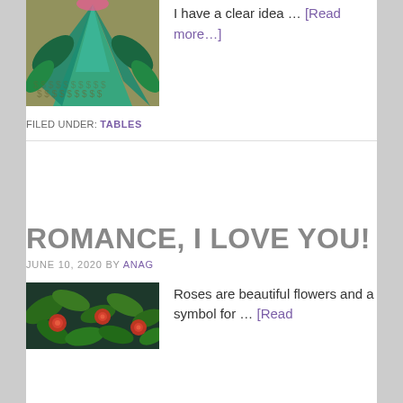[Figure (photo): Colorful stained-glass style artwork with green triangular shapes against a patterned background]
I have a clear idea … [Read more…]
FILED UNDER: TABLES
ROMANCE, I LOVE YOU!
JUNE 10, 2020 BY ANAG
[Figure (photo): Colorful stained-glass style artwork with red roses and green leaves on dark background]
Roses are beautiful flowers and a symbol for … [Read